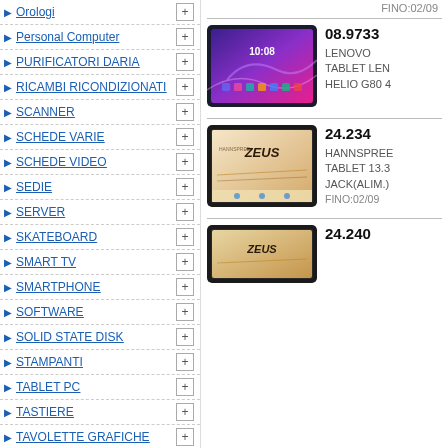▶ Orologi [+]
▶ Personal Computer [+]
▶ PURIFICATORI DARIA [+]
▶ RICAMBI RICONDIZIONATI [+]
▶ SCANNER [+]
▶ SCHEDE VARIE [+]
▶ SCHEDE VIDEO [+]
▶ SEDIE [+]
▶ SERVER [+]
▶ SKATEBOARD [+]
▶ SMART TV [+]
▶ SMARTPHONE [+]
▶ SOFTWARE [+]
▶ SOLID STATE DISK [+]
▶ STAMPANTI [+]
▶ TABLET PC [+]
▶ TASTIERE [+]
▶ TAVOLETTE GRAFICHE [+]
▶ TV [+]
▶ UFFICIO E CANCELLERIA [+]
FINO:02/09
08.9733
LENOVO TABLET LEN HELIO G80 4
24.234
HANNSPREE TABLET 13.3 JACK(ALIM.) FINO:02/09
24.240